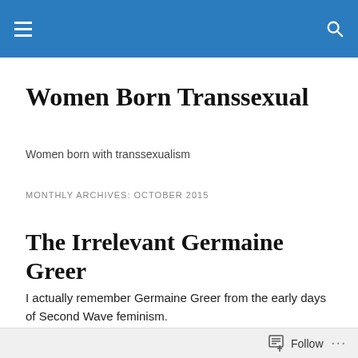Women Born Transsexual [site header bar with hamburger menu and search icon]
Women Born Transsexual
Women born with transsexualism
MONTHLY ARCHIVES: OCTOBER 2015
The Irrelevant Germaine Greer
I actually remember Germaine Greer from the early days of Second Wave feminism.
I remember her as being sort of a joke, the sexy feminist, the feminist loved by men and dismissed by many other
Follow ...